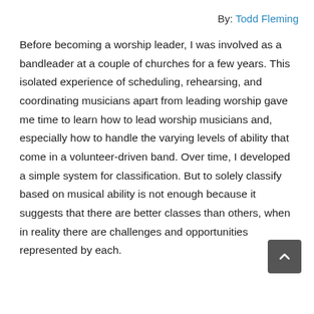By: Todd Fleming
Before becoming a worship leader, I was involved as a bandleader at a couple of churches for a few years. This isolated experience of scheduling, rehearsing, and coordinating musicians apart from leading worship gave me time to learn how to lead worship musicians and, especially how to handle the varying levels of ability that come in a volunteer-driven band. Over time, I developed a simple system for classification. But to solely classify based on musical ability is not enough because it suggests that there are better classes than others, when in reality there are challenges and opportunities represented by each.